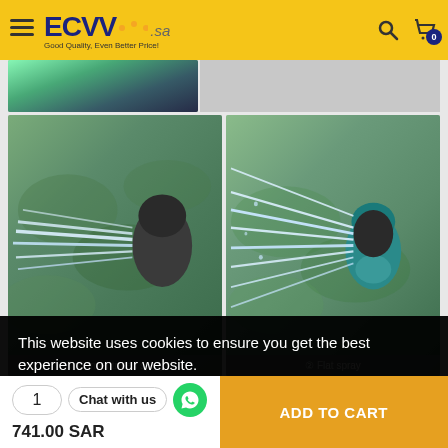ECVV .sa - Good Quality, Even Better Price!
[Figure (photo): Partial view of a hose or garden tool being held]
[Figure (photo): Left panel: concentrated water spray from nozzle with label '① Concentrated spray'. Right panel: flat water spray from teal nozzle with label '② Flat spray'.]
This website uses cookies to ensure you get the best experience on our website.
Learn more
741.00 SAR
ADD TO CART